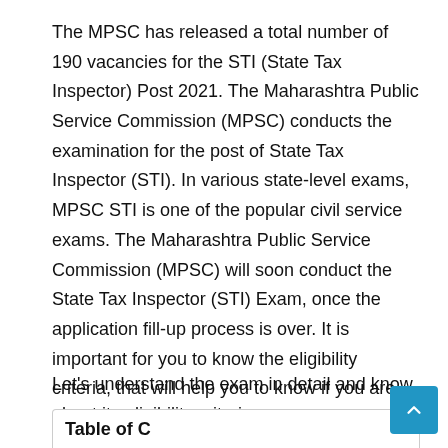The MPSC has released a total number of 190 vacancies for the STI (State Tax Inspector) Post 2021. The Maharashtra Public Service Commission (MPSC) conducts the examination for the post of State Tax Inspector (STI). In various state-level exams, MPSC STI is one of the popular civil service exams. The Maharashtra Public Service Commission (MPSC) will soon conduct the State Tax Inspector (STI) Exam, once the application fill-up process is over. It is important for you to know the eligibility criteria, that will help you to know if you are eligible for the STI examination.
Let's understand the exam in detail and know about its eligibility criteria.
Table of C...